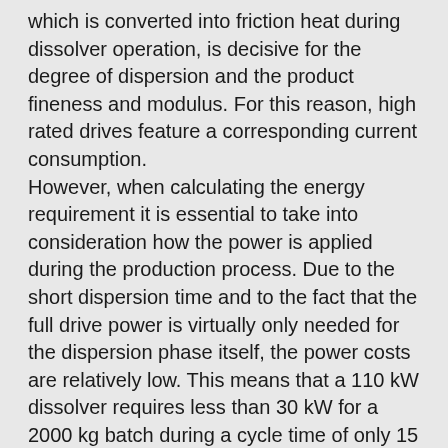which is converted into friction heat during dissolver operation, is decisive for the degree of dispersion and the product fineness and modulus. For this reason, high rated drives feature a corresponding current consumption. However, when calculating the energy requirement it is essential to take into consideration how the power is applied during the production process. Due to the short dispersion time and to the fact that the full drive power is virtually only needed for the dispersion phase itself, the power costs are relatively low. This means that a 110 kW dissolver requires less than 30 kW for a 2000 kg batch during a cycle time of only 15 min. At a basic price of EUR 0,13/kWh this results in approx. EUR 3,90 per 2000 kg of the product, i. e. less than half a Cent per kilogram. Not to mention the increased product quality.